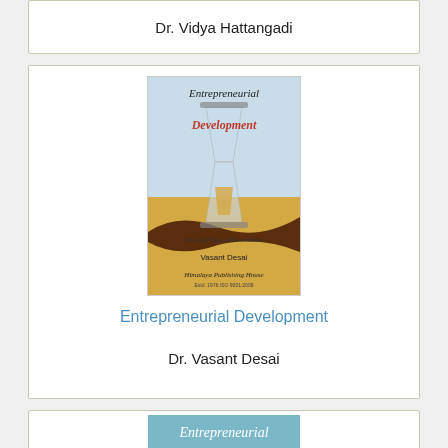Dr. Vidya Hattangadi
[Figure (illustration): Book cover of Entrepreneurial Development by Vasant Desai, published by Himalaya Publishing House. Features text 'Entrepreneurial Development - Potential Beyond Boundaries' with an hourglass image and sandy background.]
Entrepreneurial Development
Dr. Vasant Desai
[Figure (illustration): Partial book cover showing 'Entrepreneurial' text at top, partially visible at bottom of page.]